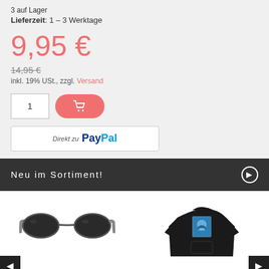3 auf Lager
Lieferzeit: 1 – 3 Werktage
9,95 €
14,95 €
inkl. 19% USt., zzgl. Versand
1 (quantity input)
Direkt zu PayPal
Neu im Sortiment!
[Figure (photo): Santa Cruz Mako Strip sunglasses - black wayfarer style sunglasses with dark lenses and grey arms]
Santa Cruz Mako Strip
[Figure (photo): Santa Cruz Split Strip Hand black hoodie with graphic print on the back]
Santa Cruz Split Strip Hand